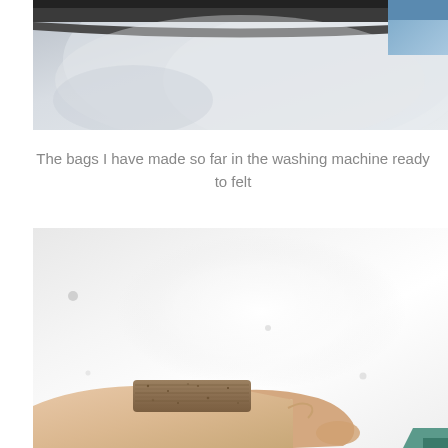[Figure (photo): Top portion of a washing machine drum interior, showing the dark rim at top and white/grey drum surface below, with a blue item visible in upper right corner.]
The bags I have made so far in the washing machine ready to felt
[Figure (photo): A person's wrist and hand wearing a brown/tan felted bracelet or cuff, against a white wall background with some marks/spots on the wall.]